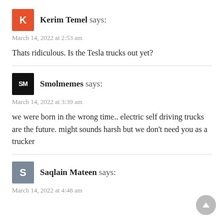Kerim Temel says:
March 14, 2022 at 2:53 am
Thats ridiculous. Is the Tesla trucks out yet?
Smolmemes says:
March 14, 2022 at 3:39 am
we were born in the wrong time.. electric self driving trucks are the future. might sounds harsh but we don't need you as a trucker
Saqlain Mateen says:
March 14, 2022 at 4:48 am